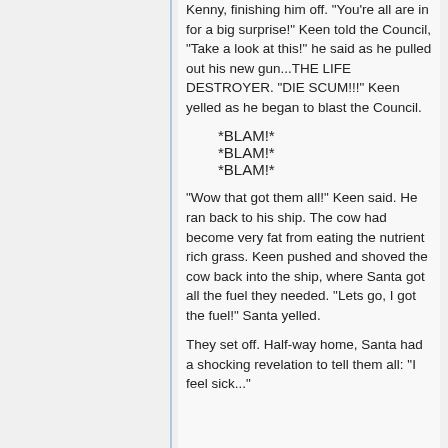Kenny, finishing him off. "You're all are in for a big surprise!" Keen told the Council, "Take a look at this!" he said as he pulled out his new gun...THE LIFE DESTROYER. "DIE SCUM!!!" Keen yelled as he began to blast the Council.
*BLAM!*
*BLAM!*
*BLAM!*
"Wow that got them all!" Keen said. He ran back to his ship. The cow had become very fat from eating the nutrient rich grass. Keen pushed and shoved the cow back into the ship, where Santa got all the fuel they needed. "Lets go, I got the fuel!" Santa yelled.
They set off. Half-way home, Santa had a shocking revelation to tell them all: "I feel sick..."